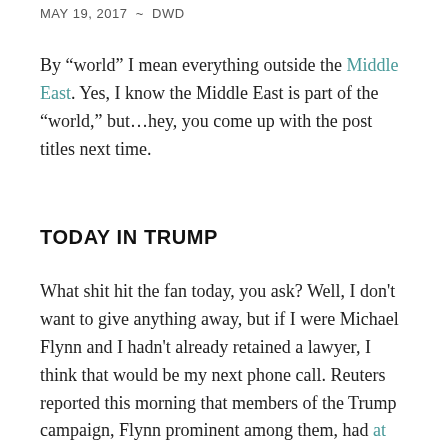MAY 19, 2017 ~ DWD
By “world” I mean everything outside the Middle East. Yes, I know the Middle East is part of the “world,” but…hey, you come up with the post titles next time.
TODAY IN TRUMP
What shit hit the fan today, you ask? Well, I don’t want to give anything away, but if I were Michael Flynn and I hadn’t already retained a lawyer, I think that would be my next phone call. Reuters reported this morning that members of the Trump campaign, Flynn prominent among them, had at least 18 (!) contacts with Russian officials during the last seven months of the 2016